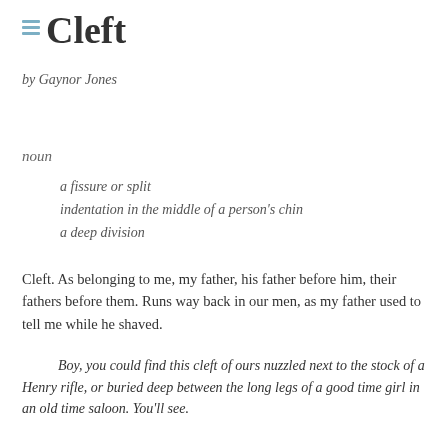Cleft
by Gaynor Jones
noun
a fissure or split
indentation in the middle of a person's chin
a deep division
Cleft. As belonging to me, my father, his father before him, their fathers before them. Runs way back in our men, as my father used to tell me while he shaved.
Boy, you could find this cleft of ours nuzzled next to the stock of a Henry rifle, or buried deep between the long legs of a good time girl in an old time saloon. You'll see.